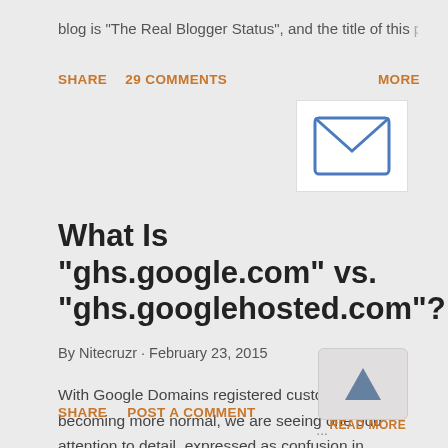blog is "The Real Blogger Status", and the title of this post is …
SHARE   29 COMMENTS   MORE
[Figure (illustration): Email envelope icon in a white box]
What Is "ghs.google.com" vs. "ghs.googlehosted.com"?
By Nitecruzr · February 23, 2015
With Google Domains registered custom domains becoming more normal, we are seeing one odd attention to detail, expressed as confusion in Blogger Help Forum: Learn More About Blogger . My website uses "ghs.google.cor …
SHARE   POST A COMMENT   READ MORE